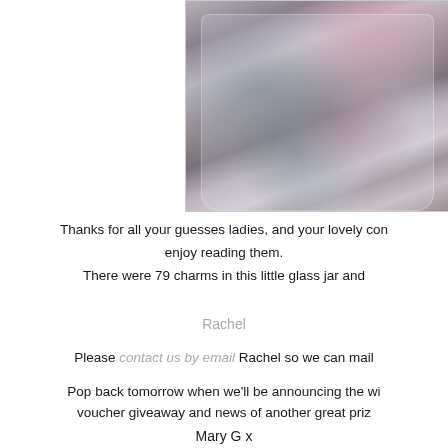[Figure (photo): A glass jar filled with many small metal charms of various shapes including animals, flowers, and decorative objects. The charms appear to be silver-toned with some pink accents. The jar is photographed against a light background.]
Thanks for all your guesses ladies, and your lovely con enjoy reading them. There were 79 charms in this little glass jar and
Rachel
Please contact us by email Rachel so we can mail
Pop back tomorrow when we'll be announcing the wi voucher giveaway and news of another great priz
Mary G x